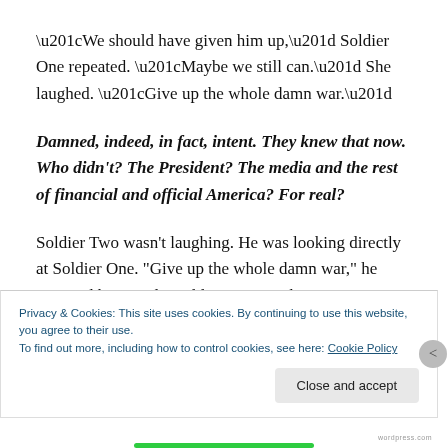“We should have given him up,” Soldier One repeated. “Maybe we still can.” She laughed. “Give up the whole damn war.”
Damned, indeed, in fact, intent. They knew that now. Who didn’t? The President? The media and the rest of financial and official America? For real?
Soldier Two wasn’t laughing. He was looking directly at Soldier One. “Give up the whole damn war,” he repeated her words. Soldier One met his
Privacy & Cookies: This site uses cookies. By continuing to use this website, you agree to their use.
To find out more, including how to control cookies, see here: Cookie Policy